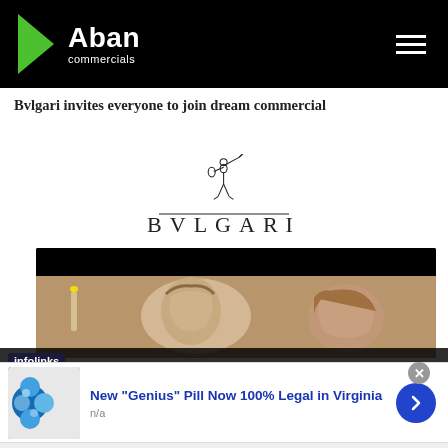Aban commercials
Bvlgari invites everyone to join dream commercial
[Figure (logo): BVLGARI logo with gladiator figure holding spear and shield above the text BVLGARI]
[Figure (photo): Video thumbnail showing a woman beside an ancient sculpture in a dark scene]
infolinks
New "Genius" Pill Now 100% Legal in Virginia
n/a